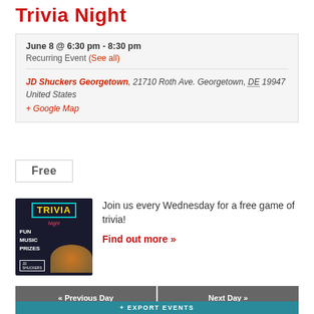Trivia Night
June 8 @ 6:30 pm - 8:30 pm
Recurring Event (See all)
JD Shuckers Georgetown, 21710 Roth Ave. Georgetown, DE 19947 United States
+ Google Map
Free
[Figure (photo): Trivia Night promotional image with neon-style text reading TRIVIA, fun music prizes, and people toasting with drinks]
Join us every Wednesday for a free game of trivia!
Find out more »
« Previous Day
Next Day »
+ EXPORT EVENTS